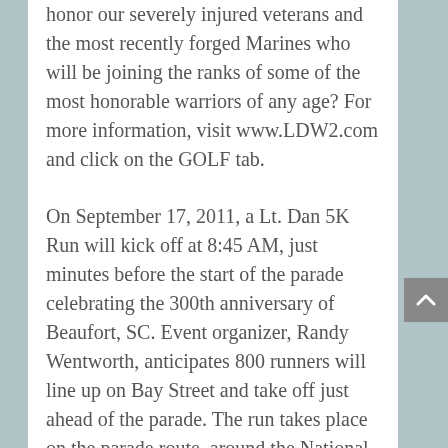honor our severely injured veterans and the most recently forged Marines who will be joining the ranks of some of the most honorable warriors of any age? For more information, visit www.LDW2.com and click on the GOLF tab.
On September 17, 2011, a Lt. Dan 5K Run will kick off at 8:45 AM, just minutes before the start of the parade celebrating the 300th anniversary of Beaufort, SC. Event organizer, Randy Wentworth, anticipates 800 runners will line up on Bay Street and take off just ahead of the parade. The run takes place on the parade route, around the National Cemetery, and ends in a spot where participants can enjoy the final display of